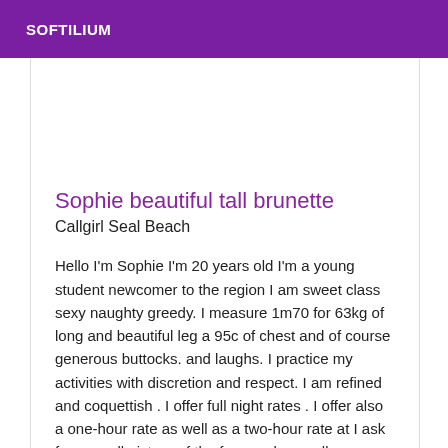SOFTILIUM
Sophie beautiful tall brunette
Callgirl Seal Beach
Hello I'm Sophie I'm 20 years old I'm a young student newcomer to the region I am sweet class sexy naughty greedy. I measure 1m70 for 63kg of long and beautiful leg a 95c of chest and of course generous buttocks. and laughs. I practice my activities with discretion and respect. I am refined and coquettish . I offer full night rates . I offer also a one-hour rate as well as a two-hour rate at I ask for a small picture of the face and a small